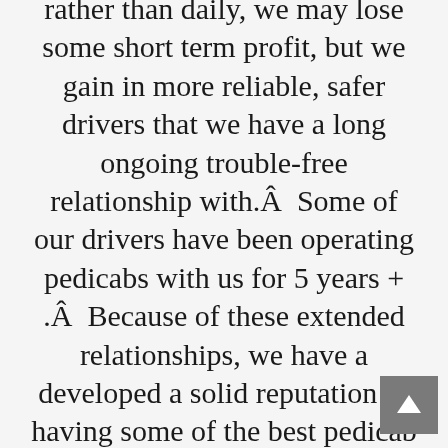rather than daily, we may lose some short term profit, but we gain in more reliable, safer drivers that we have a long ongoing trouble-free relationship with.Â  Some of our drivers have been operating pedicabs with us for 5 years + .Â  Because of these extended relationships, we have a developed a solid reputation of having some of the best pedicab operators in Austin